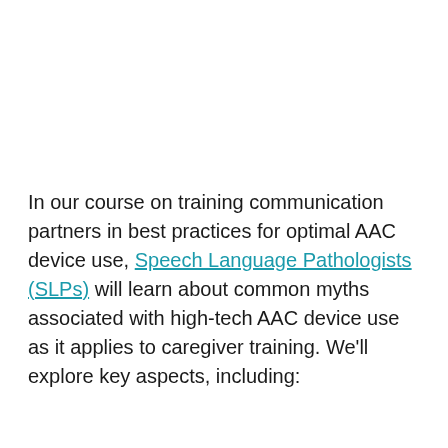In our course on training communication partners in best practices for optimal AAC device use, Speech Language Pathologists (SLPs) will learn about common myths associated with high-tech AAC device use as it applies to caregiver training. We'll explore key aspects, including: